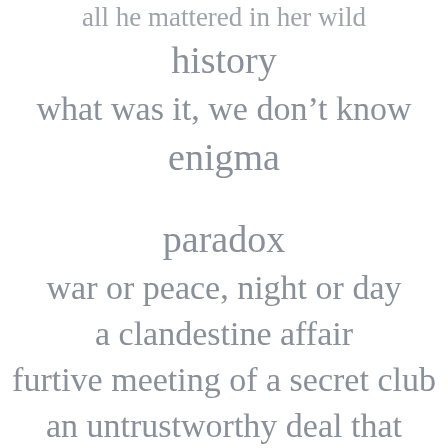all he mattered in her wild history
what was it, we don't know
enigma

paradox
war or peace, night or day
a clandestine affair
furtive meeting of a secret club
an untrustworthy deal that
went horribly wrong
or it was an old ancestral home